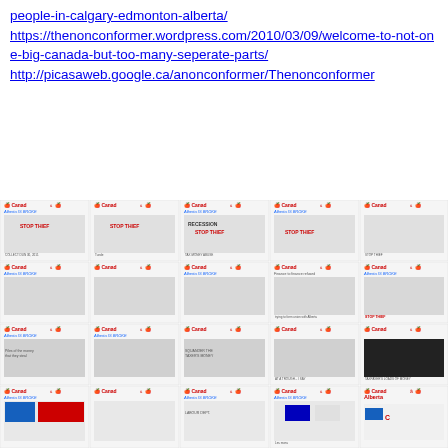people-in-calgary-edmonton-alberta/
https://thenonconformer.wordpress.com/2010/03/09/welcome-to-not-one-big-canada-but-too-many-seperate-parts/
http://picasaweb.google.ca/anonconformer/Thenonconformer
[Figure (other): A grid of thumbnail images showing Canadian cartoon/editorial cards with 'Canada' and 'Alberta IS BROKE' branding, arranged in 4 rows of 5 thumbnails each. The cards feature various political cartoons with 'STOP THIEF' and other editorial themes.]